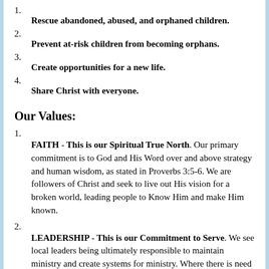1. Rescue abandoned, abused, and orphaned children.
2. Prevent at-risk children from becoming orphans.
3. Create opportunities for a new life.
4. Share Christ with everyone.
Our Values:
1. FAITH - This is our Spiritual True North. Our primary commitment is to God and His Word over and above strategy and human wisdom, as stated in Proverbs 3:5-6. We are followers of Christ and seek to live out His vision for a broken world, leading people to Know Him and make Him known.
2. LEADERSHIP - This is our Commitment to Serve. We see local leaders being ultimately responsible to maintain ministry and create systems for ministry. Where there is need for consultation, resources and church teams to plug